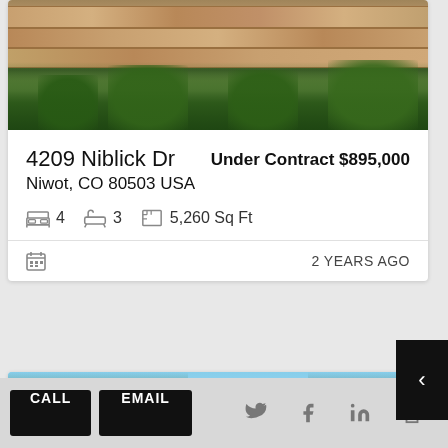[Figure (photo): Photo of a stone retaining wall with shrubs and plants, partially cropped at top]
4209 Niblick Dr
Under Contract $895,000
Niwot, CO 80503 USA
4  3  5,260 Sq Ft
2 YEARS AGO
[Figure (photo): Photo of trees against blue sky, with OFF MARKET badge]
OFF MARKET
CALL
EMAIL